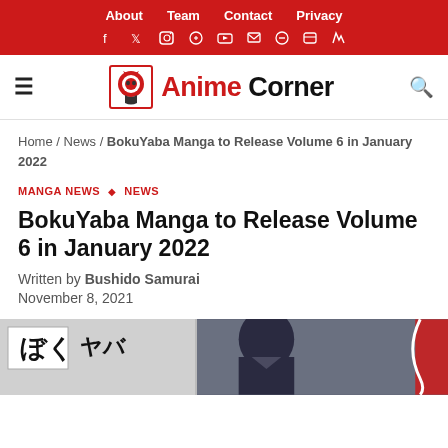About  Team  Contact  Privacy
Anime Corner
Home / News / BokuYaba Manga to Release Volume 6 in January 2022
MANGA NEWS ◇ NEWS
BokuYaba Manga to Release Volume 6 in January 2022
Written by Bushido Samurai
November 8, 2021
[Figure (photo): Partial manga cover image for BokuYaba Volume 6, showing Japanese characters and an anime character illustration in grayscale and blue tones]